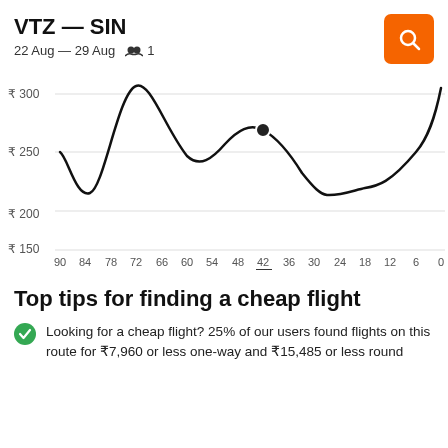VTZ — SIN
22 Aug — 29 Aug  🧑‍🤝‍🧑 1
[Figure (line-chart): Line chart showing flight price (₹150-₹300+) vs days before departure (0-90). Curve starts around ₹250 at 90 days, dips to ~₹205 at ~83 days, rises to ~₹310 at ~72 days, dips to ~₹240 at ~57 days, rises to ~₹265 at 42 days (highlighted with dot), dips to ~₹210 at ~27 days, then rises sharply toward ₹300+ as days approach 0.]
Top tips for finding a cheap flight
Looking for a cheap flight? 25% of our users found flights on this route for ₹7,960 or less one-way and ₹15,485 or less round